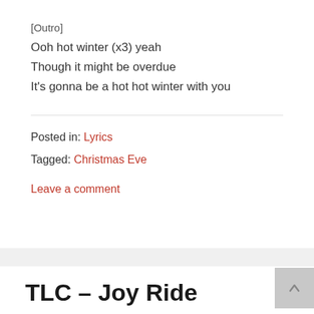[Outro]
Ooh hot winter (x3) yeah
Though it might be overdue
It's gonna be a hot hot winter with you
Posted in: Lyrics
Tagged: Christmas Eve
Leave a comment
TLC – Joy Ride